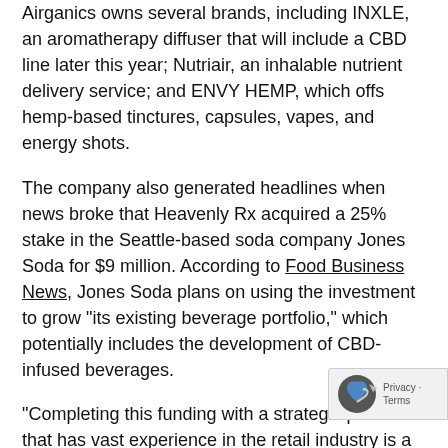Airganics owns several brands, including INXLE, an aromatherapy diffuser that will include a CBD line later this year; Nutriair, an inhalable nutrient delivery service; and ENVY HEMP, which offs hemp-based tinctures, capsules, vapes, and energy shots.
The company also generated headlines when news broke that Heavenly Rx acquired a 25% stake in the Seattle-based soda company Jones Soda for $9 million. According to Food Business News, Jones Soda plans on using the investment to grow "its existing beverage portfolio," which potentially includes the development of CBD-infused beverages.
"Completing this funding with a strategic partner that has vast experience in the retail industry is a significant step forward for Jones Soda," said Jones Soda CEO, Jennifer Cue. "We believe that Heavenly Rx seeking out the Jones brand is a testament to our unique beverages that resonate well with consumers, and we expect their involvement will help accelerate future C.B.D.-infused beverage brand development."